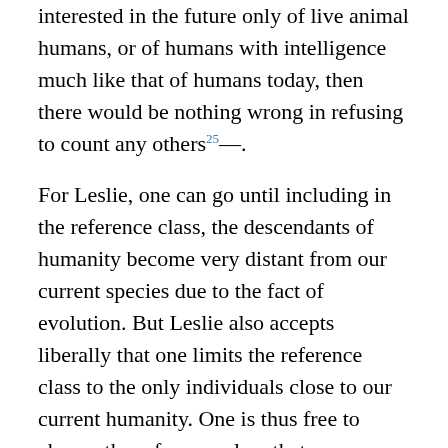interested in the future only of live animal humans, or of humans with intelligence much like that of humans today, then there would be nothing wrong in refusing to count any others²⁵—.
For Leslie, one can go until including in the reference class, the descendants of humanity become very distant from our current species due to the fact of evolution. But Leslie also accepts liberally that one limits the reference class to the only individuals close to our current humanity. One is thus free to choose the reference class that one wishes, while operating either by extension, or by restriction. It will be enough in each case to adjust the initial probability accordingly. It appears here that this type of answer can be transposed, literally, to an objection to HP of comparable nature, based on the reference class of (H15)-(H15’). One can fix, so the objection goes, the Z class as one wishes, and assign to “all those” the desired content. One can for example limit Z to the species Homo sapiens, or well associate it to the whole of the Homo